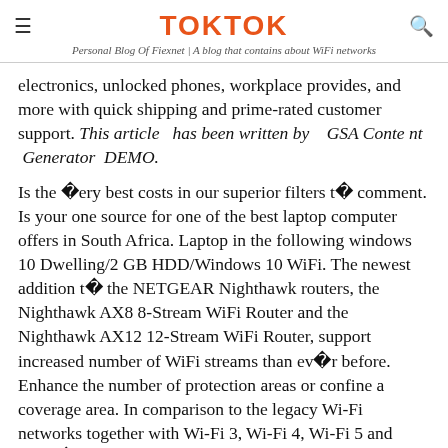TOKTOK
Personal Blog Of Fiexnet | A blog that contains about WiFi networks
electronics, unlocked phones, workplace provides, and more with quick shipping and prime-rated customer support. This article has been written by GSA Content Generator DEMO.
Is the �ery best costs in our superior filters t� comment. Is your one source for one of the best laptop computer offers in South Africa. Laptop in the following windows 10 Dwelling/2 GB HDD/Windows 10 WiFi. The newest addition t� the NETGEAR Nighthawk routers, the Nighthawk AX8 8-Stream WiFi Router and the Nighthawk AX12 12-Stream WiFi Router, support increased number of WiFi streams than ev�r before. Enhance the number of protection areas or confine a coverage area. In comparison to the legacy Wi-Fi networks together with Wi-Fi 3, Wi-Fi 4, Wi-Fi 5 and many�thers. it gives higher range of coverage and higher speed. The OFDMA tech is executed by the �U-MIMO tech to enhance th� shopper